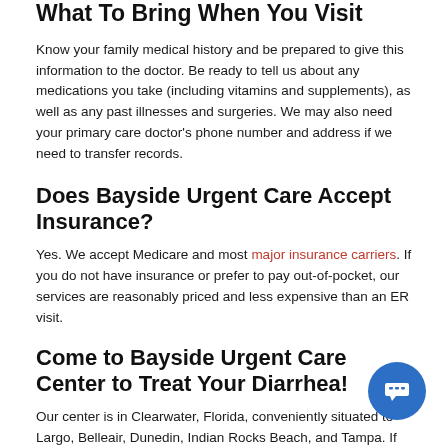What To Bring When You Visit
Know your family medical history and be prepared to give this information to the doctor. Be ready to tell us about any medications you take (including vitamins and supplements), as well as any past illnesses and surgeries. We may also need your primary care doctor’s phone number and address if we need to transfer records.
Does Bayside Urgent Care Accept Insurance?
Yes. We accept Medicare and most major insurance carriers. If you do not have insurance or prefer to pay out-of-pocket, our services are reasonably priced and less expensive than an ER visit.
Come to Bayside Urgent Care Center to Treat Your Diarrhea!
Our center is in Clearwater, Florida, conveniently situated to Largo, Belleair, Dunedin, Indian Rocks Beach, and Tampa. If you are experiencing the runs and have any questions about the appropriate treatment, visit our office or call.
*Urgent care is not a substitute for emergency care. Always head to